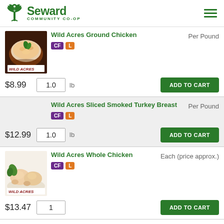Seward Community Co-op
[Figure (photo): Ground chicken in a wooden bowl with basil leaves]
Wild Acres Ground Chicken
CF  L
Per Pound
$8.99   1.0 lb   ADD TO CART
Wild Acres Sliced Smoked Turkey Breast
CF  L
Per Pound
$12.99   1.0 lb   ADD TO CART
[Figure (photo): Whole raw chickens on a white plate with herbs]
Wild Acres Whole Chicken
CF  L
Each (price approx.)
$13.47   1   ADD TO CART